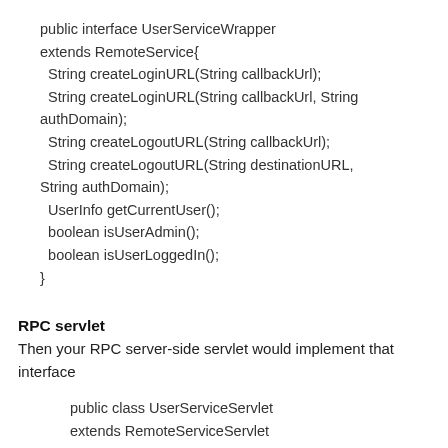public interface UserServiceWrapper
extends RemoteService{
  String createLoginURL(String callbackUrl);
  String createLoginURL(String callbackUrl, String authDomain);
  String createLogoutURL(String callbackUrl);
  String createLogoutURL(String destinationURL, String authDomain);
  UserInfo getCurrentUser();
  boolean isUserAdmin();
  boolean isUserLoggedIn();
}
RPC servlet
Then your RPC server-side servlet would implement that interface
public class UserServiceServlet
extends RemoteServiceServlet
implements UserServiceWrapper
{